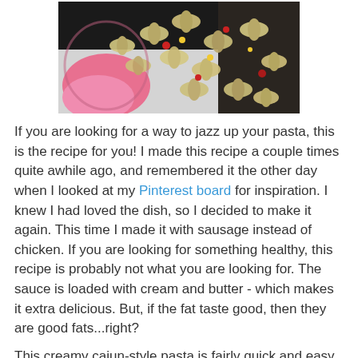[Figure (photo): Close-up photo of bow-tie pasta (farfalle) with corn, red peppers, and other vegetables on a pink plate]
If you are looking for a way to jazz up your pasta, this is the recipe for you! I made this recipe a couple times quite awhile ago, and remembered it the other day when I looked at my Pinterest board for inspiration. I knew I had loved the dish, so I decided to make it again. This time I made it with sausage instead of chicken. If you are looking for something healthy, this recipe is probably not what you are looking for. The sauce is loaded with cream and butter - which makes it extra delicious. But, if the fat taste good, then they are good fats...right?
This creamy cajun-style pasta is fairly quick and easy to make. It is nice and filling and it is definitely a comfort food. I recommend that you try it today! Enjoy.
Recipe for Creamy Cajun-Style Pasta with Andouille Sausage
INGREDIENTS: